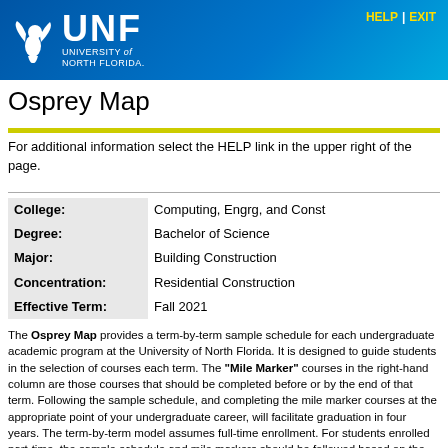UNF University of North Florida | HELP | EXIT
Osprey Map
For additional information select the HELP link in the upper right of the page.
| College: | Computing, Engrg, and Const |
| Degree: | Bachelor of Science |
| Major: | Building Construction |
| Concentration: | Residential Construction |
| Effective Term: | Fall 2021 |
The Osprey Map provides a term-by-term sample schedule for each undergraduate academic program at the University of North Florida. It is designed to guide students in the selection of courses each term. The "Mile Marker" courses in the right-hand column are those courses that should be completed before or by the end of that term. Following the sample schedule, and completing the mile marker courses at the appropriate point of your undergraduate career, will facilitate graduation in four years. The term-by-term model assumes full-time enrollment. For students enrolled part-time, the sample schedule and mile markers should be followed based on the number of credits completed. The Osprey Map should be used in consultation with an academic advisor.